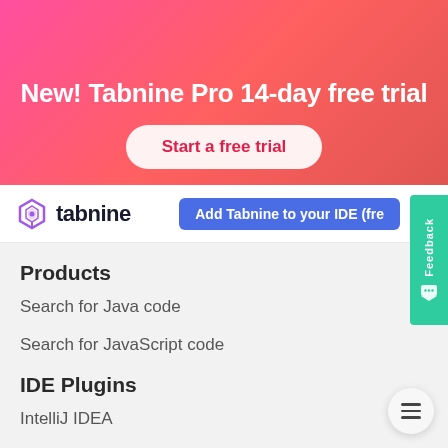[Figure (illustration): Pink-to-red gradient promotional banner with a party popper emoji icon]
New! Tabnine Pro 14-day free trial
Start a free trial
[Figure (logo): Tabnine logo with hexagonal icon and wordmark]
Add Tabnine to your IDE (fre
Products
Search for Java code
Search for JavaScript code
IDE Plugins
IntelliJ IDEA